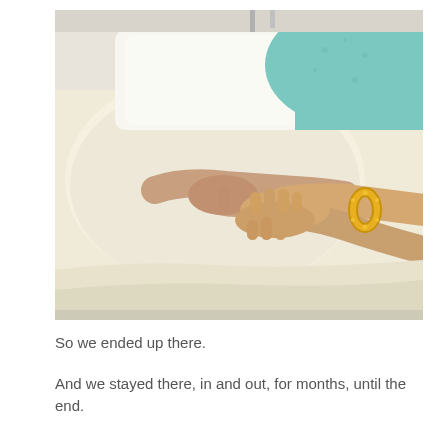[Figure (photo): A person lying in a hospital bed wearing a teal/turquoise gown, with another person's hands (wearing a gold bracelet) gently holding the patient's hands over cream-colored bedding.]
So we ended up there.
And we stayed there, in and out, for months, until the end.